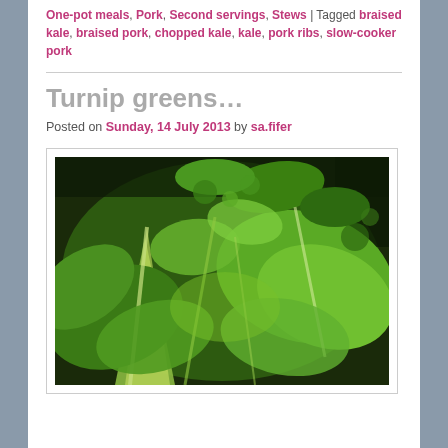One-pot meals, Pork, Second servings, Stews | Tagged braised kale, braised pork, chopped kale, kale, pork ribs, slow-cooker pork
Turnip greens…
Posted on Sunday, 14 July 2013 by sa.fifer
[Figure (photo): Close-up photo of fresh green turnip greens / leafy greens piled together, showing curly and flat leaf varieties in vivid green tones]